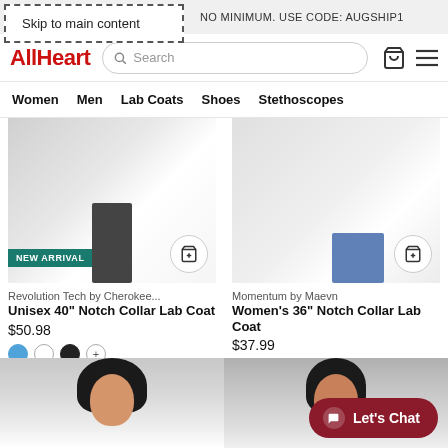Skip to main content
FREE SHIPPING. NO MINIMUM. USE CODE: AUGSHIP1
[Figure (logo): AllHeart logo in red, search bar, cart icon, hamburger menu]
Women  Men  Lab Coats  Shoes  Stethoscopes
[Figure (photo): Product photo of Unisex 40 inch Notch Collar Lab Coat with NEW ARRIVAL badge, blue selected color swatch]
Revolution Tech by Cherokee...
Unisex 40" Notch Collar Lab Coat
$50.98
[Figure (photo): Product photo of Women's 36 inch Notch Collar Lab Coat, white color swatch]
Momentum by Maevn
Women's 36" Notch Collar Lab Coat
$37.99
[Figure (photo): Partial photo of female model wearing white lab coat, bottom portion cut off]
[Figure (photo): Partial photo of female model wearing white lab coat, bottom portion cut off]
Let's Chat